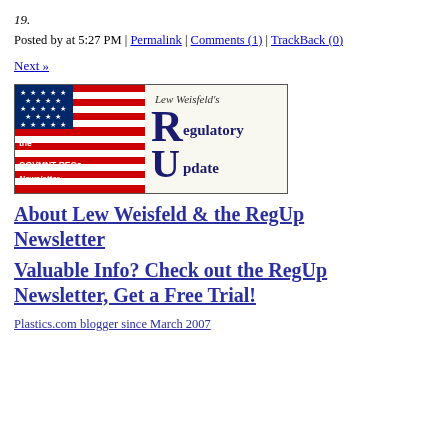19.
Posted by at 5:27 PM | Permalink | Comments (1) | TrackBack (0)
Next »
[Figure (logo): Lew Weisfeld's Regulatory Update — the INDUSTRY's GOVMNT REGs Newsletter banner with American flag graphic]
About Lew Weisfeld & the RegUp Newsletter
Valuable Info? Check out the RegUp Newsletter, Get a Free Trial!
Plastics.com blogger since March 2007